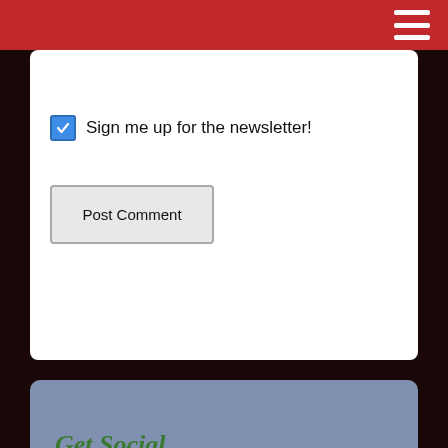Sign me up for the newsletter!
Post Comment
Get Social
[Figure (other): Social media icons: Twitter, Facebook, Goodreads, Email, RSS]
Follow me on BookBub